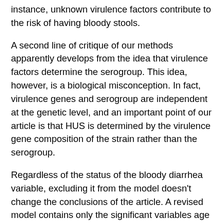instance, unknown virulence factors contribute to the risk of having bloody stools.
A second line of critique of our methods apparently develops from the idea that virulence factors determine the serogroup. This idea, however, is a biological misconception. In fact, virulence genes and serogroup are independent at the genetic level, and an important point of our article is that HUS is determined by the virulence gene composition of the strain rather than the serogroup.
Regardless of the status of the bloody diarrhea variable, excluding it from the model doesn't change the conclusions of the article. A revised model contains only the significant variables age and stx2 (Table). Serotype O157 is still not an independent predictor of HUS, and this result is robust.